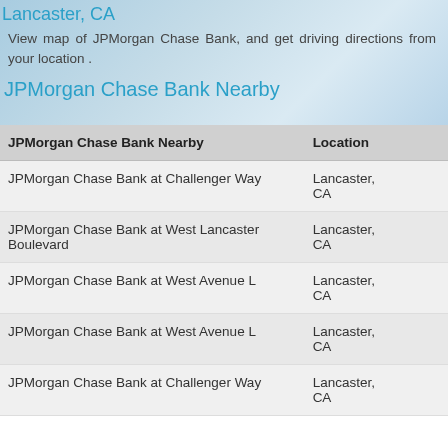Lancaster, CA
View map of JPMorgan Chase Bank, and get driving directions from your location .
JPMorgan Chase Bank Nearby
| JPMorgan Chase Bank Nearby | Location |
| --- | --- |
| JPMorgan Chase Bank at Challenger Way | Lancaster, CA |
| JPMorgan Chase Bank at West Lancaster Boulevard | Lancaster, CA |
| JPMorgan Chase Bank at West Avenue L | Lancaster, CA |
| JPMorgan Chase Bank at West Avenue L | Lancaster, CA |
| JPMorgan Chase Bank at Challenger Way | Lancaster, CA |